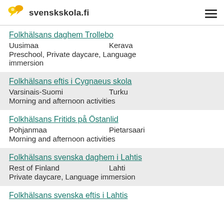svenskskola.fi
Folkhälsans daghem Trollebo
Uusimaa   Kerava
Preschool, Private daycare, Language immersion
Folkhälsans eftis i Cygnaeus skola
Varsinais-Suomi   Turku
Morning and afternoon activities
Folkhälsans Fritids på Östanlid
Pohjanmaa   Pietarsaari
Morning and afternoon activities
Folkhälsans svenska daghem i Lahtis
Rest of Finland   Lahti
Private daycare, Language immersion
Folkhälsans svenska eftis i Lahtis